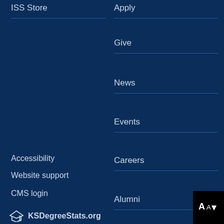ISS Store
Apply
Give
News
Events
Careers
Alumni
Accessibility
Website support
CMS login
[Figure (logo): KSDegreeStats.org logo with graduation cap icon]
[Figure (other): Translate button with A and down arrow icon]